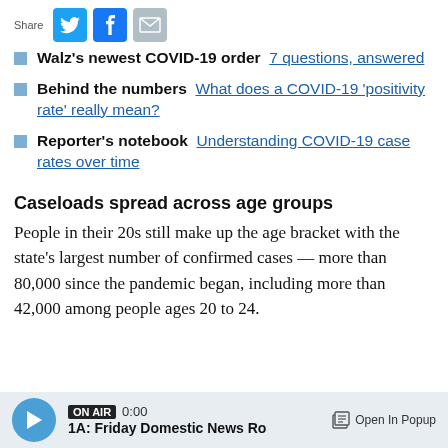[Figure (other): Share bar with Twitter, Facebook, and email icons]
Walz’s newest COVID-19 order  7 questions, answered
Behind the numbers  What does a COVID-19 ‘positivity rate’ really mean?
Reporter’s notebook  Understanding COVID-19 case rates over time
Caseloads spread across age groups
People in their 20s still make up the age bracket with the state’s largest number of confirmed cases — more than 80,000 since the pandemic began, including more than 42,000 among people ages 20 to 24.
ON AIR 0:00  1A: Friday Domestic News Ro   Open In Popup